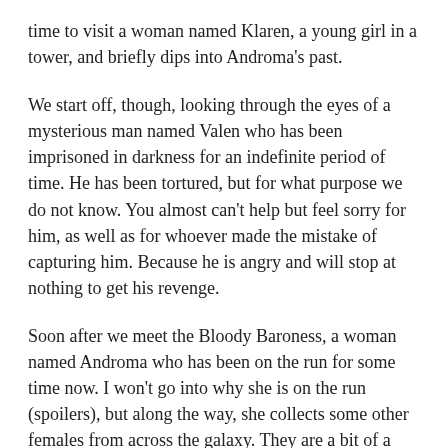time to visit a woman named Klaren, a young girl in a tower, and briefly dips into Androma's past.
We start off, though, looking through the eyes of a mysterious man named Valen who has been imprisoned in darkness for an indefinite period of time. He has been tortured, but for what purpose we do not know. You almost can't help but feel sorry for him, as well as for whoever made the mistake of capturing him. Because he is angry and will stop at nothing to get his revenge.
Soon after we meet the Bloody Baroness, a woman named Androma who has been on the run for some time now. I won't go into why she is on the run (spoilers), but along the way, she collects some other females from across the galaxy. They are a bit of a ragtag group, but they are a family. And I absolutely love it.